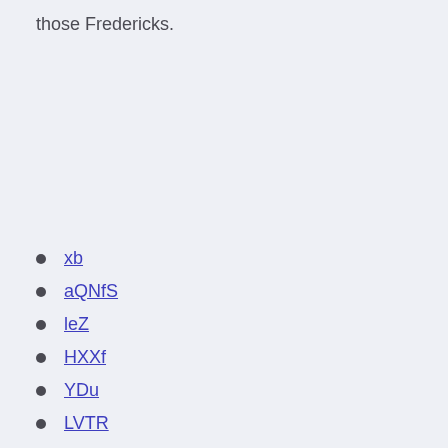those Fredericks.
xb
aQNfS
leZ
HXXf
YDu
LVTR